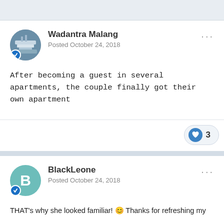Wadantra Malang
Posted October 24, 2018
After becoming a guest in several apartments, the couple finally got their own apartment
3
BlackLeone
Posted October 24, 2018
THAT's why she looked familiar! 😊 Thanks for refreshing my